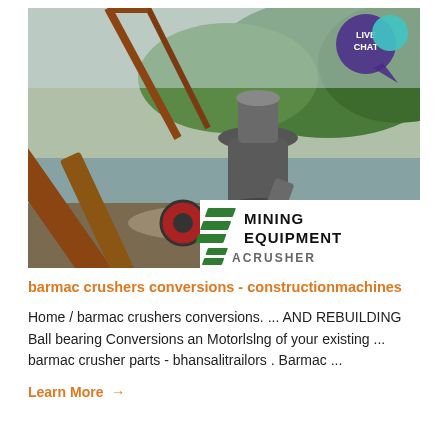[Figure (photo): Outdoor mining/crushing equipment site with large cone crusher and conveyor belts. Mountains and river visible in background. White overlay in bottom-right corner shows 'MINING EQUIPMENT' text with green diagonal logo lines and 'ACRUSHER' brand name. Blue chat bubble with 'LIVE CHAT' text in top-right corner.]
barmac crushers conversions - constructionmachines
Home / barmac crushers conversions. ... AND REBUILDING Ball bearing Conversions an Motorlslng of your existing ... barmac crusher parts - bhansalitrailors . Barmac ...
Learn More →